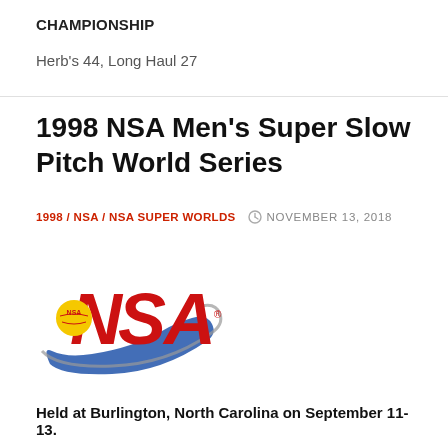CHAMPIONSHIP
Herb's 44, Long Haul 27
1998 NSA Men's Super Slow Pitch World Series
1998 / NSA / NSA SUPER WORLDS   NOVEMBER 13, 2018
[Figure (logo): NSA (National Softball Association) logo with red block letters NSA, a blue swoosh, and a yellow softball with NSA text]
Held at Burlington, North Carolina on September 11-13.